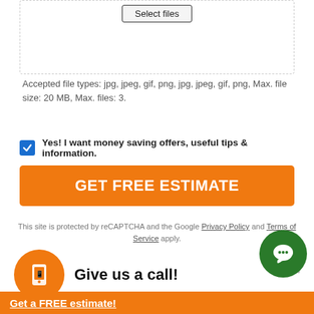[Figure (screenshot): File upload dashed box with Select files button]
Accepted file types: jpg, jpeg, gif, png, jpg, jpeg, gif, png, Max. file size: 20 MB, Max. files: 3.
Yes! I want money saving offers, useful tips & information.
GET FREE ESTIMATE
This site is protected by reCAPTCHA and the Google Privacy Policy and Terms of Service apply.
Give us a call!
Get a FREE estimate!